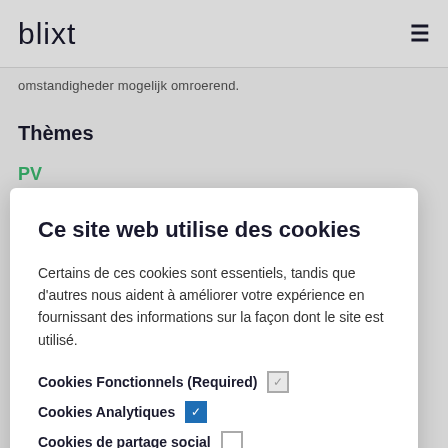blixt
omstandigheder mogelijk omroerend.
Thèmes
PV
Ce site web utilise des cookies
Certains de ces cookies sont essentiels, tandis que d'autres nous aident à améliorer votre expérience en fournissant des informations sur la façon dont le site est utilisé.
Cookies Fonctionnels (Required)
Cookies Analytiques
Cookies de partage social
DETAILS
OK
BCE/TVA(BE) 0844.971.948